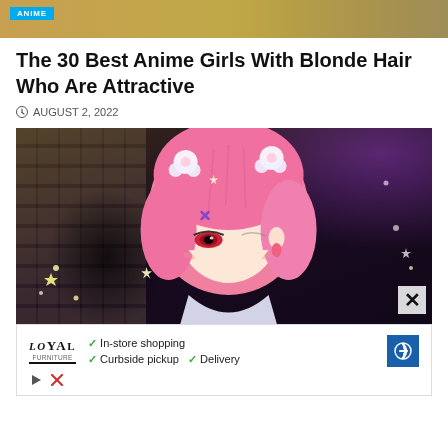[Figure (photo): Top cropped portion of an anime/manga themed image with a blue 'ANIME' badge label in top left, partial view of an anime character on golden/amber background]
The 30 Best Anime Girls With Blonde Hair Who Are Attractive
AUGUST 2, 2022
[Figure (photo): Anime character (Ram from Re:Zero) with pink hair, white flower accessories, red eyes, wearing a maid outfit, sparkle effects around her, dark background with stone wall texture on left]
[Figure (photo): Advertisement banner for LOYAL with checkmarks: In-store shopping, Curbside pickup, Delivery, and a blue navigation arrow icon]